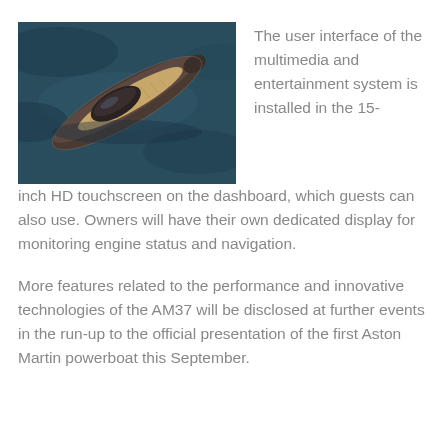[Figure (photo): Aerial view of a sleek luxury powerboat (AM37 by Aston Martin) from above, showing the hull, wooden deck, and cockpit against a dark teal water background.]
The user interface of the multimedia and entertainment system is installed in the 15-inch HD touchscreen on the dashboard, which guests can also use. Owners will have their own dedicated display for monitoring engine status and navigation.
More features related to the performance and innovative technologies of the AM37 will be disclosed at further events in the run-up to the official presentation of the first Aston Martin powerboat this September.